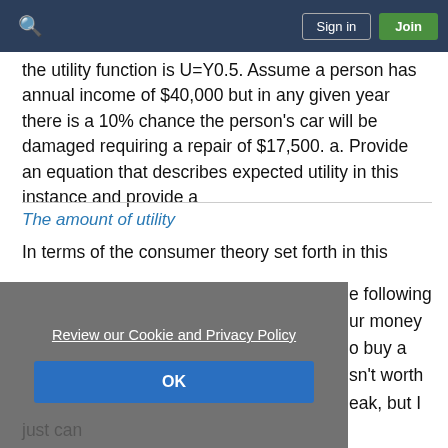Sign in | Join
the utility function is U=Y0.5. Assume a person has annual income of $40,000 but in any given year there is a 10% chance the person's car will be damaged requiring a repair of $17,500. a. Provide an equation that describes expected utility in this instance and provide a
The amount of utility
In terms of the consumer theory set forth in this
e following ur money o buy a sn't worth eak, but I just can
Review our Cookie and Privacy Policy
OK